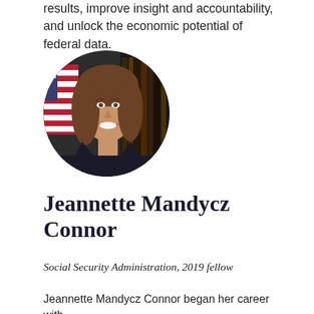results, improve insight and accountability, and unlock the economic potential of federal data.
[Figure (photo): Circular portrait photo of Jeannette Mandycz Connor, a woman with brown shoulder-length hair, smiling, wearing a dark blazer, with an American flag visible in the background.]
Jeannette Mandycz Connor
Social Security Administration, 2019 fellow
Jeannette Mandycz Connor began her career with